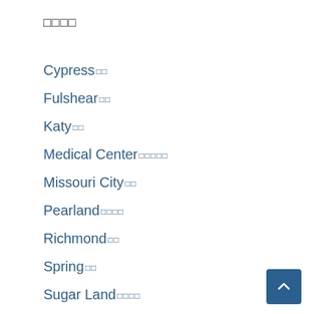□□□□
Cypress□□
Fulshear□□
Katy□□
Medical Center□□□□□
Missouri City□□
Pearland□□□□
Richmond□□
Spring□□
Sugar Land□□□□
Woodlands□□